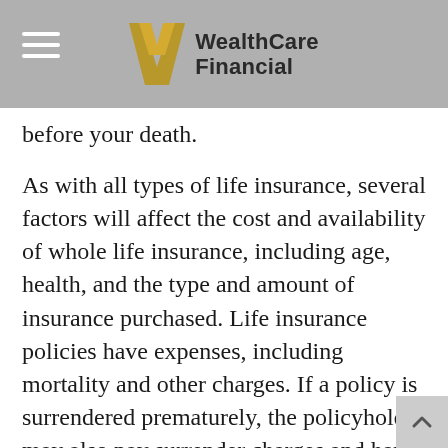WealthCare Financial
before your death.
As with all types of life insurance, several factors will affect the cost and availability of whole life insurance, including age, health, and the type and amount of insurance purchased. Life insurance policies have expenses, including mortality and other charges. If a policy is surrendered prematurely, the policyholder may also pay surrender charges and have income tax implications. You should consider determining whether you are insurable before implementing a strategy involving life insurance. Any guarantees associated with